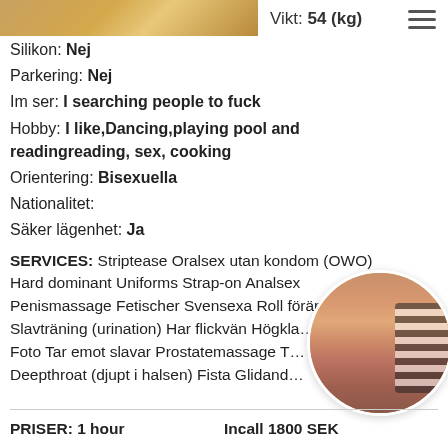[Figure (photo): Partial photo strip at top left]
Vikt: 54 (kg)
Silikon: Nej
Parkering: Nej
Im ser: I searching people to fuck
Hobby: I like,Dancing,playing pool and readingreading, sex, cooking
Orientering: Bisexuella
Nationalitet:
Säker lägenhet: Ja
SERVICES: Striptease Oralsex utan kondom (OWO) Hard dominant Uniforms Strap-on Analsex Penismassage Fetischer Svensexa Roll förändras Slavträning (urination) Har flickvän Högkl... Foto Tar emot slavar Prostatemassage T... Deepthroat (djupt i halsen) Fista Glidand...
[Figure (photo): Circular cropped photo of torso]
PRISER: 1 hour    Incall 1800 SEK